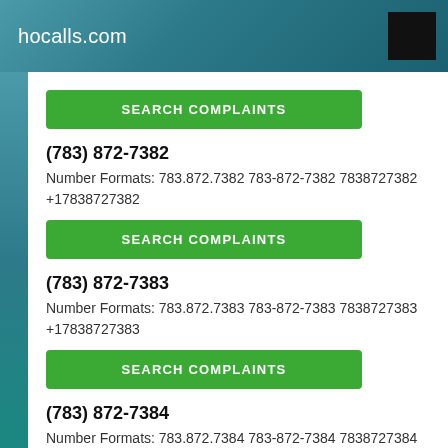hocalls.com
SEARCH COMPLAINTS
(783) 872-7382
Number Formats: 783.872.7382 783-872-7382 7838727382 +17838727382
SEARCH COMPLAINTS
(783) 872-7383
Number Formats: 783.872.7383 783-872-7383 7838727383 +17838727383
SEARCH COMPLAINTS
(783) 872-7384
Number Formats: 783.872.7384 783-872-7384 7838727384 +17838727384